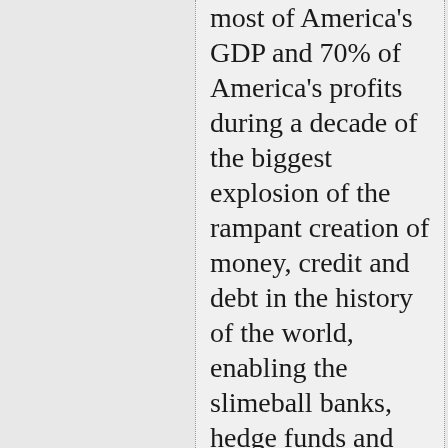most of America's GDP and 70% of America's profits during a decade of the biggest explosion of the rampant creation of money, credit and debt in the history of the world, enabling the slimeball banks, hedge funds and financial industry scamsters to leverage